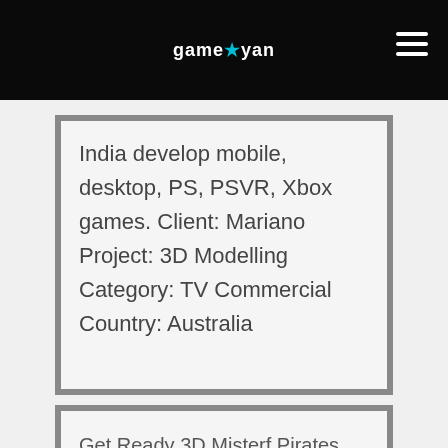gameyan
India develop mobile, desktop, PS, PSVR, Xbox games. Client: Mariano Project: 3D Modelling Category: TV Commercial Country: Australia
Get Ready 3D Misterf Pirates